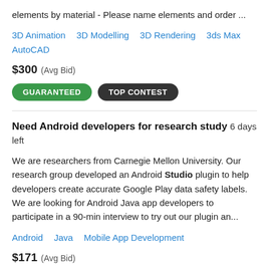elements by material - Please name elements and order ...
3D Animation   3D Modelling   3D Rendering   3ds Max   AutoCAD
$300  (Avg Bid)
GUARANTEED   TOP CONTEST
Need Android developers for research study  6 days left
We are researchers from Carnegie Mellon University. Our research group developed an Android Studio plugin to help developers create accurate Google Play data safety labels. We are looking for Android Java app developers to participate in a 90-min interview to try out our plugin an...
Android   Java   Mobile App Development
$171  (Avg Bid)